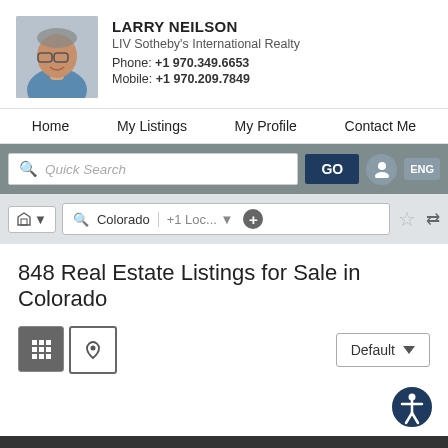[Figure (photo): Headshot of Larry Neilson, a middle-aged man with glasses wearing a blue shirt, against a light gray background]
LARRY NEILSON
LIV Sotheby's International Realty
Phone: +1 970.349.6653
Mobile: +1 970.209.7849
Home   My Listings   My Profile   Contact Me
Quick Search   GO   ENG
Colorado   +1 Loc...
848 Real Estate Listings for Sale in Colorado
Default ▼